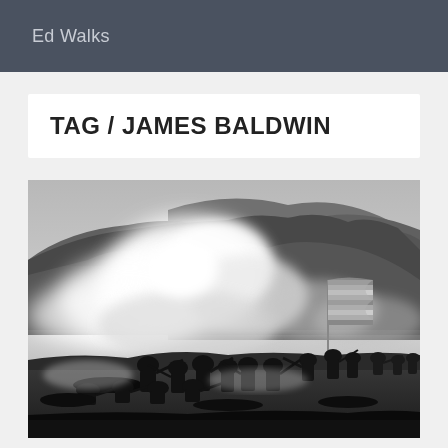Ed Walks
TAG / JAMES BALDWIN
[Figure (photo): Black and white photograph of a Civil War battle reenactment or historical battle scene. Soldiers are charging across a battlefield with rifles and bayonets, carrying an American flag. There is heavy smoke and cannon fire visible, with a rocky hill in the background.]